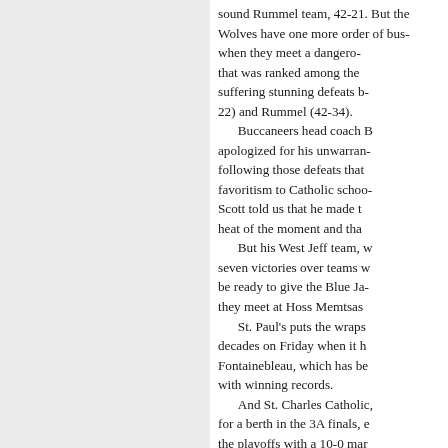sound Rummel team, 42-21. But the Wolves have one more order of business Friday when they meet a dangerous Jesuit team that was ranked among the top teams before suffering stunning defeats by Brother Martin (22) and Rummel (42-34). Buccaneers head coach Bill Scott apologized for his unwarranted comments following those defeats that alleged favoritism to Catholic schools. Scott told us that he made those remarks in the heat of the moment and tha... But his West Jeff team, w... seven victories over teams ... be ready to give the Blue Ja... they meet at Hoss Memtsas... St. Paul's puts the wraps ... decades on Friday when it h... Fontainebleau, which has b... with winning records. And St. Charles Catholic, for a berth in the 3A finals, e... the playoffs with a 10-0 mar... White. There is little reason ... won't have his Comets, whi... their rivals 417-25, well prep... district in its final regular-sea... Friday.